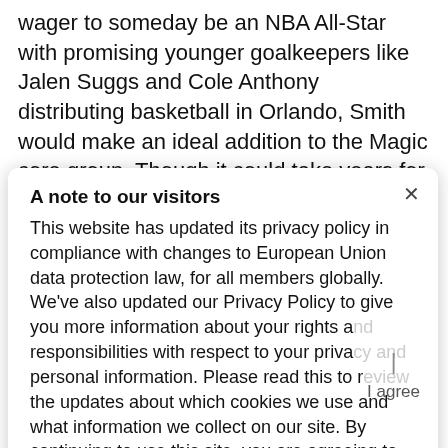wager to someday be an NBA All-Star with promising younger goalkeepers like Jalen Suggs and Cole Anthony distributing basketball in Orlando, Smith would make an ideal addition to the Magic core group. Though it could take years for Smith to achieve his full potential, it's straightforward to see him grow to be the Magic's first...
A note to our visitors
This website has updated its privacy policy in compliance with changes to European Union data protection law, for all members globally. We've also updated our Privacy Policy to give you more information about your rights and responsibilities with respect to your privacy and personal information. Please read this to review the updates about which cookies we use and what information we collect on our site. By continuing to use this site, you are agreeing to our updated privacy policy.